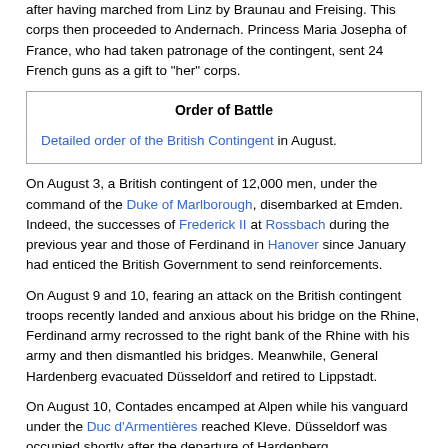after having marched from Linz by Braunau and Freising. This corps then proceeded to Andernach. Princess Maria Josepha of France, who had taken patronage of the contingent, sent 24 French guns as a gift to "her" corps.
| Order of Battle |
| --- |
| Detailed order of the British Contingent in August. |
On August 3, a British contingent of 12,000 men, under the command of the Duke of Marlborough, disembarked at Emden. Indeed, the successes of Frederick II at Rossbach during the previous year and those of Ferdinand in Hanover since January had enticed the British Government to send reinforcements.
On August 9 and 10, fearing an attack on the British contingent troops recently landed and anxious about his bridge on the Rhine, Ferdinand army recrossed to the right bank of the Rhine with his army and then dismantled his bridges. Meanwhile, General Hardenberg evacuated Düsseldorf and retired to Lippstadt.
On August 10, Contades encamped at Alpen while his vanguard under the Duc d'Armentières reached Kleve. Düsseldorf was occupied shortly after the departure of Hardenberg.
French counter-offensive